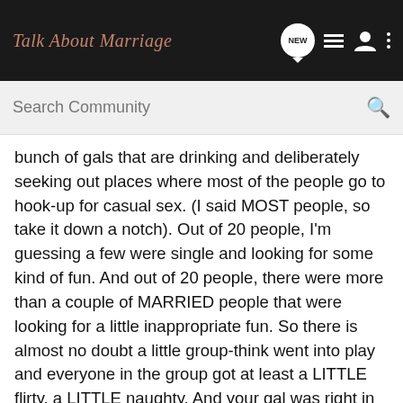Talk About Marriage
Search Community
bunch of gals that are drinking and deliberately seeking out places where most of the people go to hook-up for casual sex. (I said MOST people, so take it down a notch). Out of 20 people, I'm guessing a few were single and looking for some kind of fun. And out of 20 people, there were more than a couple of MARRIED people that were looking for a little inappropriate fun. So there is almost no doubt a little group-think went into play and everyone in the group got at least a LITTLE flirty, a LITTLE naughty. And your gal was right in there with them.
That is NOT a situation any same man would want his SO voluntarily stepping into.
Now, this is the issue that brought me here: clubbing wives. I've